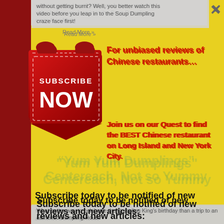without getting burnt? Well, you better watch this video before you leap in to the Soup Dumpling craze face first!
[Figure (illustration): Red ribbon/scroll badge with 'SUBSCRIBE NOW' text in white on dark red background with dashed border]
For unbiased reviews of Chinese restaurants…
Join us on our Quest to find the BEST Chinese restaurant on Long Island and New York City.
"Yum Yum Dumplings" Centereach, Not so Yummy
Subscribe today to be notified of new reviews and new articles:
Name
Email*
Subscribe
What better way to celebrate the Dumpling King's birthday than a trip to an authentic Dumpling House